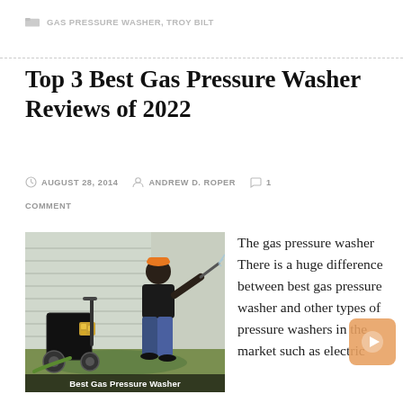GAS PRESSURE WASHER, TROY BILT
Top 3 Best Gas Pressure Washer Reviews of 2022
AUGUST 28, 2014  ANDREW D. ROPER  1 COMMENT
[Figure (photo): Man using a gas pressure washer outdoors next to a house, with caption 'Best Gas Pressure Washer']
The gas pressure washer There is a huge difference between best gas pressure washer and other types of pressure washers in the market such as electric